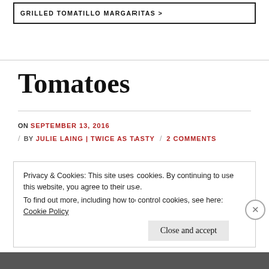GRILLED TOMATILLO MARGARITAS >
Tomatoes
ON SEPTEMBER 13, 2016
BY JULIE LAING | TWICE AS TASTY / 2 COMMENTS
Privacy & Cookies: This site uses cookies. By continuing to use this website, you agree to their use.
To find out more, including how to control cookies, see here: Cookie Policy
Close and accept